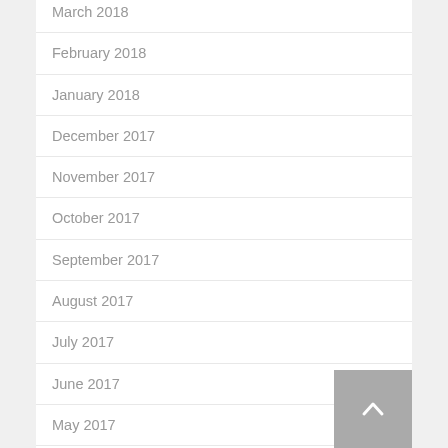March 2018
February 2018
January 2018
December 2017
November 2017
October 2017
September 2017
August 2017
July 2017
June 2017
May 2017
April 2017